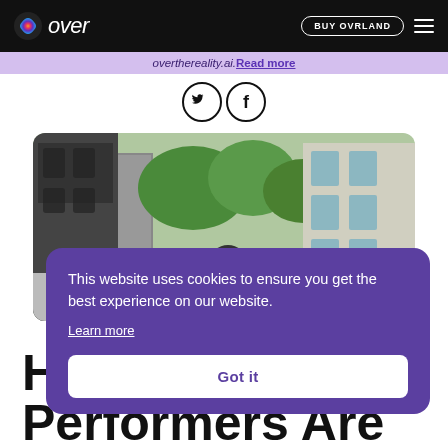over | BUY OVRLAND
overthereality.ai. Read more
[Figure (other): Twitter and Facebook social media icons in circular outlines]
[Figure (photo): Street photo: person in knit hat on urban street with ornate building facade and green trees]
This website uses cookies to ensure you get the best experience on our website. Learn more Got it
H… Performers Are